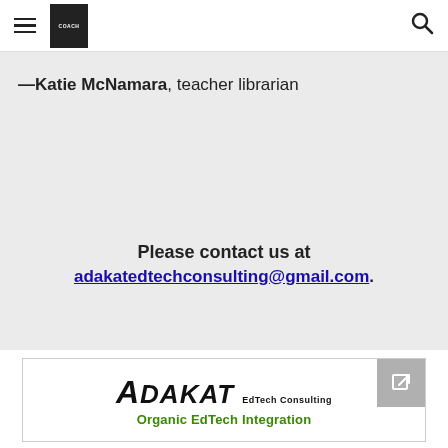—Katie McNamara, teacher librarian
Please contact us at adakatedtechconsulting@gmail.com.
[Figure (logo): Adakat EdTech Consulting logo with stylized bold italic text 'ADAKAT', subtitle 'EdTech Consulting', and green tagline 'Organic EdTech Integration']